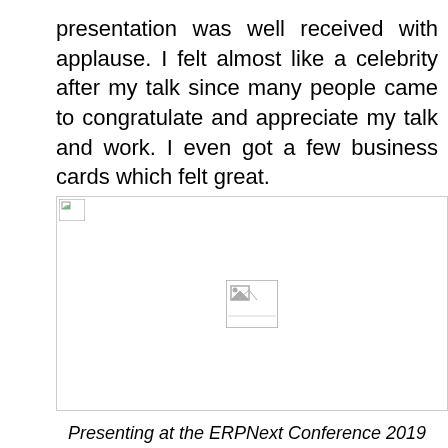presentation was well received with applause. I felt almost like a celebrity after my talk since many people came to congratulate and appreciate my talk and work. I even got a few business cards which felt great.
[Figure (photo): A broken/missing image placeholder showing a small image icon in the top-left and a larger image placeholder icon in the center of a white rectangular area]
Presenting at the ERPNext Conference 2019